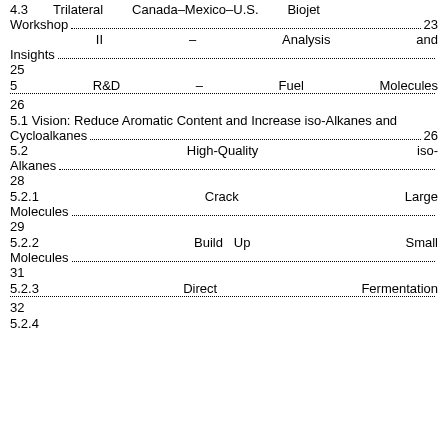4.3 Trilateral Canada–Mexico–U.S. Biojet Workshop... 23
II – Analysis and Insights... 25
5 R&D – Fuel Molecules... 26
5.1 Vision: Reduce Aromatic Content and Increase iso-Alkanes and Cycloalkanes... 26
5.2 High-Quality iso-Alkanes... 28
5.2.1 Crack Large Molecules... 29
5.2.2 Build Up Small Molecules... 31
5.2.3 Direct Fermentation... 32
5.2.4